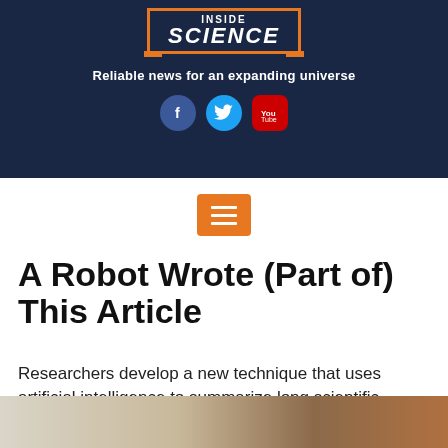[Figure (logo): Inside Science logo with orange border box, white text, orange bracket accents at bottom corners]
Reliable news for an expanding universe
[Figure (infographic): Facebook, Twitter, and YouTube social media icons in a row]
[Figure (infographic): Orange hamburger menu button with three white lines]
A Robot Wrote (Part of) This Article
Researchers develop a new technique that uses artificial intelligence to summarize long scientific papers.
[Figure (photo): Partial photo at bottom of page, showing hands and possibly a device on a desk]